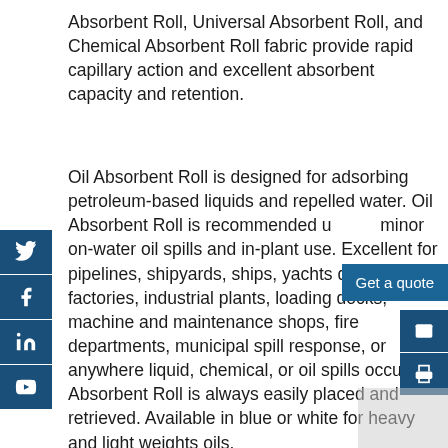Absorbent Roll, Universal Absorbent Roll, and Chemical Absorbent Roll fabric provide rapid capillary action and excellent absorbent capacity and retention.
Oil Absorbent Roll is designed for adsorbing petroleum-based liquids and repelled water. Oil Absorbent Roll is recommended use minor on-water oil spills and in-plant use. Excellent for pipelines, shipyards, ships, yachts decks, factories, industrial plants, loading docks, machine and maintenance shops, fire departments, municipal spill response, or anywhere liquid, chemical, or oil spills occur. Oil Absorbent Roll is always easily placed and retrieved. Available in blue or white for heavy and light weights oils.